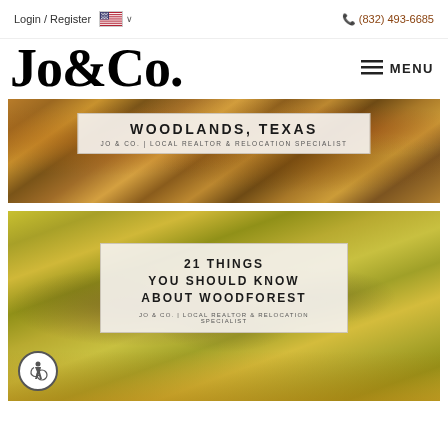Login / Register | (832) 493-6685
Jo&Co.
MENU
[Figure (photo): Aerial view of Woodlands Texas neighborhood with fall foliage. Overlay text: WOODLANDS, TEXAS / JO & CO. | LOCAL REALTOR & RELOCATION SPECIALIST]
[Figure (photo): Family riding bikes on a leaf-covered path in autumn. Overlay text: 21 THINGS YOU SHOULD KNOW ABOUT WOODFOREST / JO & CO. | LOCAL REALTOR & RELOCATION SPECIALIST]